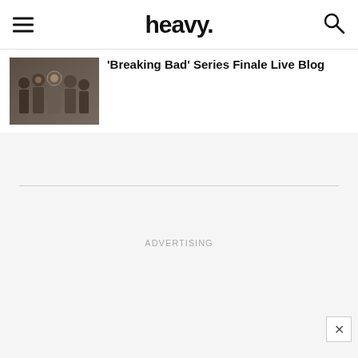heavy.
[Figure (photo): Group of people at an event, smiling and celebrating]
'Breaking Bad' Series Finale Live Blog
ADVERTISING